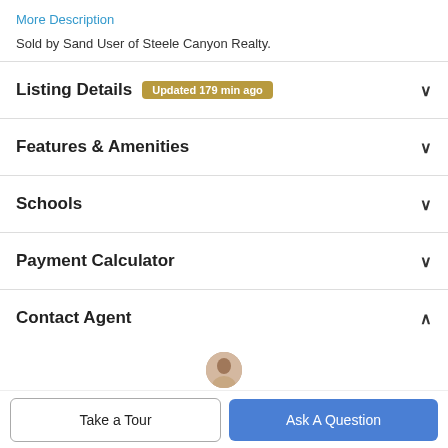More Description
Sold by Sand User of Steele Canyon Realty.
Listing Details Updated 179 min ago
Features & Amenities
Schools
Payment Calculator
Contact Agent
[Figure (photo): Agent avatar photo]
Take a Tour
Ask A Question